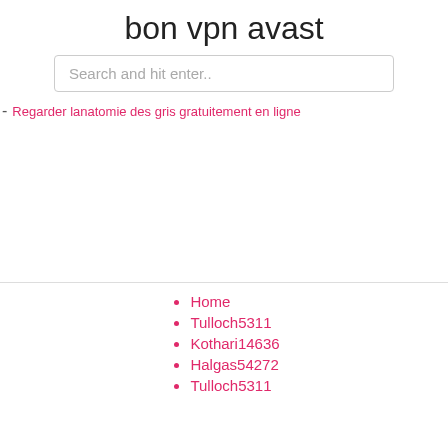bon vpn avast
Search and hit enter..
Regarder lanatomie des gris gratuitement en ligne
Home
Tulloch5311
Kothari14636
Halgas54272
Tulloch5311